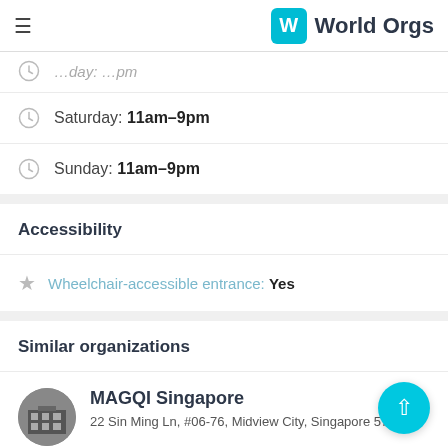World Orgs
Saturday: 11am–9pm
Sunday: 11am–9pm
Accessibility
Wheelchair-accessible entrance: Yes
Similar organizations
MAGQI Singapore
22 Sin Ming Ln, #06-76, Midview City, Singapore 573969